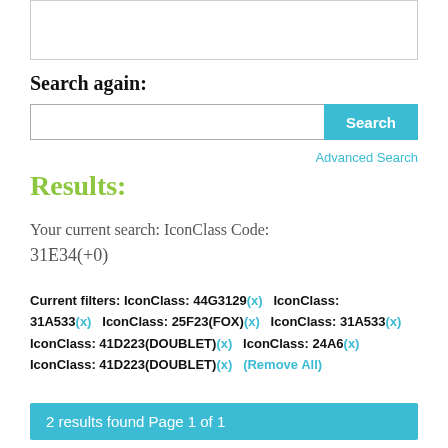Search again:
Search [button] Advanced Search
Results:
Your current search: IconClass Code: 31E34(+0)
Current filters: IconClass: 44G3129(x)   IconClass: 31A533(x)   IconClass: 25F23(FOX)(x)   IconClass: 31A533(x)   IconClass: 41D223(DOUBLET)(x)   IconClass: 24A6(x)   IconClass: 41D223(DOUBLET)(x)   (Remove All)
2 results found Page 1 of 1